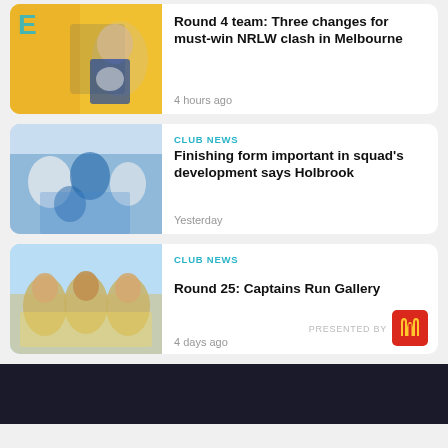[Figure (photo): News card 1: Rugby league player in yellow/blue kit holding ball, yellow background]
Round 4 team: Three changes for must-win NRLW clash in Melbourne
4 hours ago
[Figure (photo): News card 2: Rugby league players in blue and white kits during a match]
CLUB NEWS
Finishing form important in squad's development says Holbrook
Yesterday
[Figure (photo): News card 3: Three rugby league players in yellow Parramatta Eels kits posing together]
CLUB NEWS
Round 25: Captains Run Gallery
4 days ago
PRESENTED BY
[Figure (logo): McDonald's golden arches logo on red background]